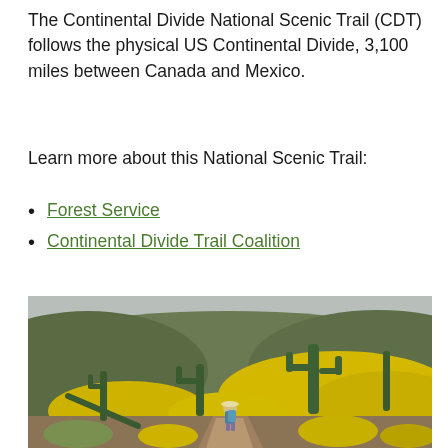The Continental Divide National Scenic Trail (CDT) follows the physical US Continental Divide, 3,100 miles between Canada and Mexico.
Learn more about this National Scenic Trail:
Forest Service
Continental Divide Trail Coalition
[Figure (photo): A hiker on a desert trail surrounded by tall saguaro cacti and bright yellow wildflowers covering hillsides under a cloudy sky.]